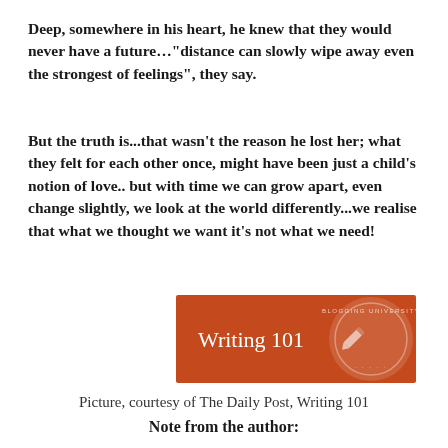Deep, somewhere in his heart, he knew that they would never have a future…"distance can slowly wipe away even the strongest of feelings", they say.
But the truth is...that wasn't the reason he lost her; what they felt for each other once, might have been just a child's notion of love.. but with time we can grow apart, even change slightly, we look at the world differently...we realise that what we thought we want it's not what we need!
[Figure (logo): Writing 101 banner with orange/rust background and Blogging University circular stamp logo on the right side]
Picture, courtesy of The Daily Post, Writing 101
Note from the author:
I really learned something today...it's not that easy to talk...